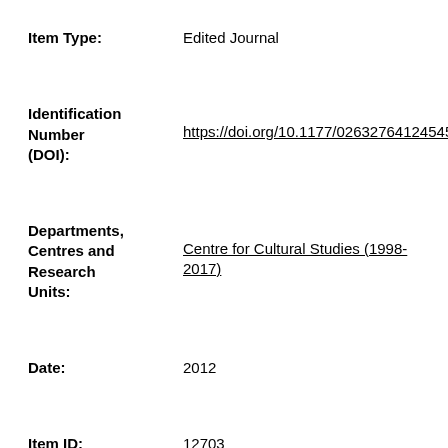Item Type: Edited Journal
Identification Number (DOI): https://doi.org/10.1177/026327641245455…
Departments, Centres and Research Units: Centre for Cultural Studies (1998-2017)
Date: 2012
Item ID: 12703
Date 17 Aug 2015 08:26